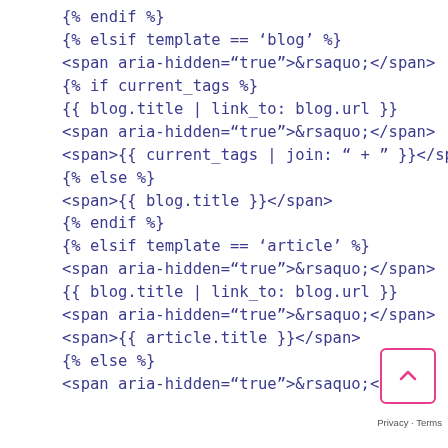{% endif %}
{% elsif template == 'blog' %}
<span aria-hidden="true">&rsaquo;</span>
{% if current_tags %}
{{ blog.title | link_to: blog.url }}
<span aria-hidden="true">&rsaquo;</span>
<span>{{ current_tags | join: " + " }}</span>
{% else %}
<span>{{ blog.title }}</span>
{% endif %}
{% elsif template == 'article' %}
<span aria-hidden="true">&rsaquo;</span>
{{ blog.title | link_to: blog.url }}
<span aria-hidden="true">&rsaquo;</span>
<span>{{ article.title }}</span>
{% else %}
<span aria-hidden="true">&rsaquo;</span>